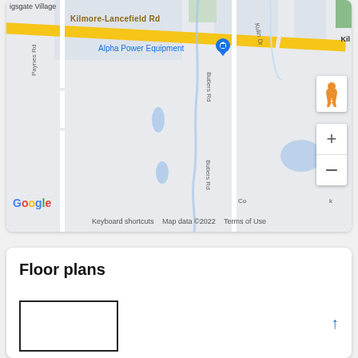[Figure (map): Google Maps screenshot showing Kilmore-Lancefield Rd area with Alpha Power Equipment business marker, Butlers Rd, Paynes Rd, Kulin Dr road labels, zoom controls, pegman icon, and Google branding. Map data ©2022.]
Floor plans
[Figure (illustration): Partial floor plan thumbnail showing a rectangular room outline.]